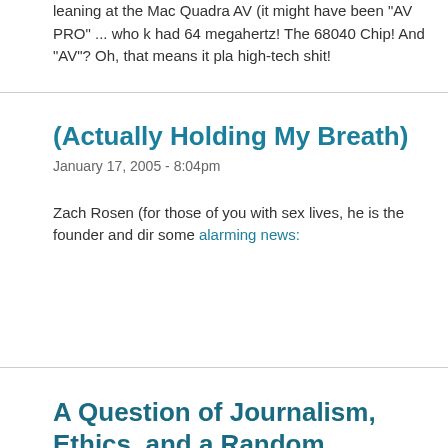leaning at the Mac Quadra AV (it might have been "AV PRO" ... who k had 64 megahertz! The 68040 Chip! And "AV"? Oh, that means it pla high-tech shit!
(Actually Holding My Breath)
January 17, 2005 - 8:04pm
Zach Rosen (for those of you with sex lives, he is the founder and dir some alarming news:
A Question of Journalism, Ethics, and a Random Hammers
January 16, 2005 - 10:33pm